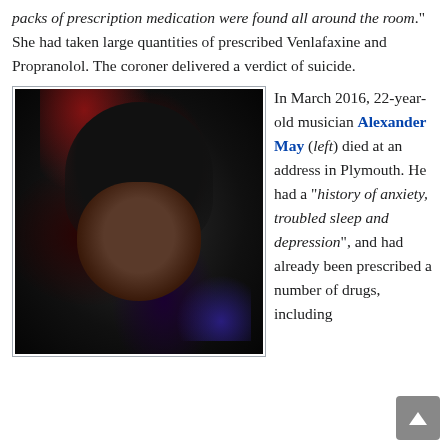packs of prescription medication were found all around the room." She had taken large quantities of prescribed Venlafaxine and Propranolol. The coroner delivered a verdict of suicide.
[Figure (photo): Black and white photo of Alexander May, a young man with dark hair looking down, lit with red and blue stage lighting]
In March 2016, 22-year-old musician Alexander May (left) died at an address in Plymouth. He had a "history of anxiety, troubled sleep and depression", and had already been prescribed a number of drugs, including